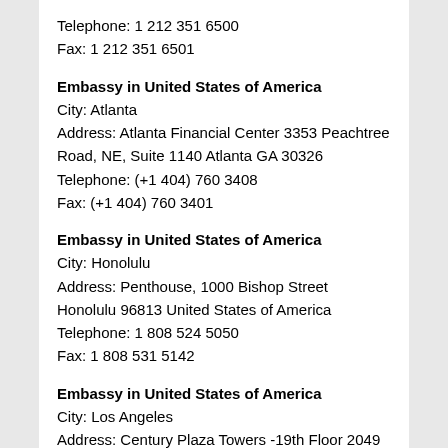Telephone: 1 212 351 6500
Fax: 1 212 351 6501
Embassy in United States of America
City: Atlanta
Address: Atlanta Financial Center 3353 Peachtree Road, NE, Suite 1140 Atlanta GA 30326
Telephone: (+1 404) 760 3408
Fax: (+1 404) 760 3401
Embassy in United States of America
City: Honolulu
Address: Penthouse, 1000 Bishop Street Honolulu 96813 United States of America
Telephone: 1 808 524 5050
Fax: 1 808 531 5142
Embassy in United States of America
City: Los Angeles
Address: Century Plaza Towers -19th Floor 2049 Century Park East, Century City Los Angeles CA 90067
Telephone: 1 213 229 1800